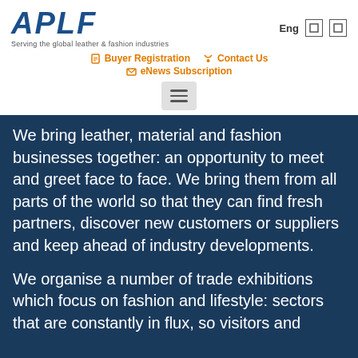[Figure (logo): APLF logo with italic blue text and tagline 'Serving the global leather & fashion industries']
Eng
Buyer Registration
Contact Us
eNews Subscription
We bring leather, material and fashion businesses together: an opportunity to meet and greet face to face. We bring them from all parts of the world so that they can find fresh partners, discover new customers or suppliers and keep ahead of industry developments.
We organise a number of trade exhibitions which focus on fashion and lifestyle: sectors that are constantly in flux, so visitors and exhibitors alike need to keep up to the...